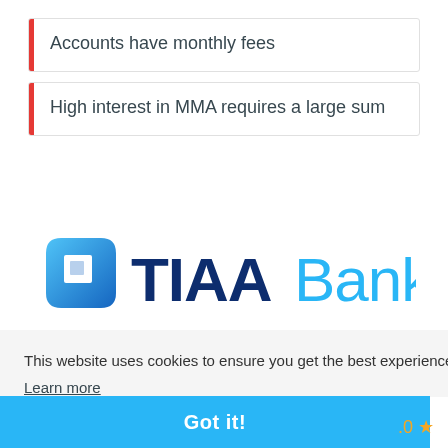Accounts have monthly fees
High interest in MMA requires a large sum
[Figure (logo): TIAA Bank logo with blue square icon and TIAA Bank text]
This website uses cookies to ensure you get the best experience on our website.
Learn more
Got it!